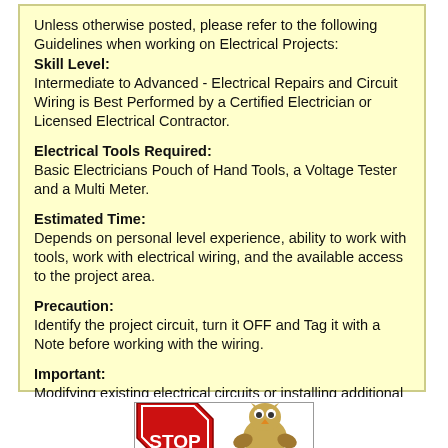Unless otherwise posted, please refer to the following Guidelines when working on Electrical Projects:

Skill Level:
Intermediate to Advanced - Electrical Repairs and Circuit Wiring is Best Performed by a Certified Electrician or Licensed Electrical Contractor.

Electrical Tools Required:
Basic Electricians Pouch of Hand Tools, a Voltage Tester and a Multi Meter.

Estimated Time:
Depends on personal level experience, ability to work with tools, work with electrical wiring, and the available access to the project area.

Precaution:
Identify the project circuit, turn it OFF and Tag it with a Note before working with the wiring.

Important:
Modifying existing electrical circuits or installing additional electrical wiring should be done according to local and National Electrical Codes, with a permit and be inspected.
[Figure (illustration): Partial view of a STOP sign (red octagon with white text) and a cartoon owl character, cropped at the bottom of the page.]